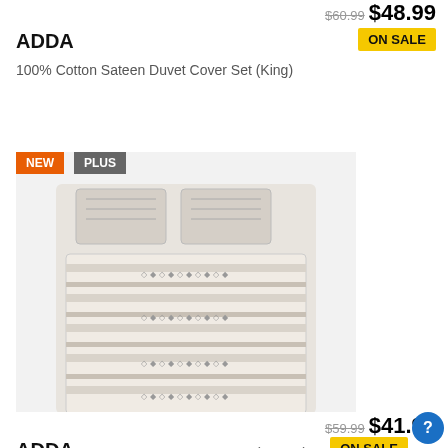$60.99 $48.99
ADDA
ON SALE
100% Cotton Sateen Duvet Cover Set (King)
View details
[Figure (photo): ADDA 100% Cotton Sateen Duvet Cover Set (King) — white and grey patterned duvet cover with two pillows, featuring geometric stripe patterns. Badges: NEW (orange), PLUS (grey).]
$59.99 $41.99
ADDA
ON SALE
100% Cotton Sateen Duvet Cover Set (Queen)